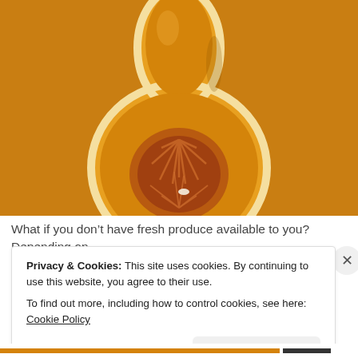[Figure (photo): A halved butternut squash (cross-section showing seed cavity and fibrous interior) photographed from above on an orange/amber background]
What if you don't have fresh produce available to you? Depending on
Privacy & Cookies: This site uses cookies. By continuing to use this website, you agree to their use.
To find out more, including how to control cookies, see here: Cookie Policy
Close and accept